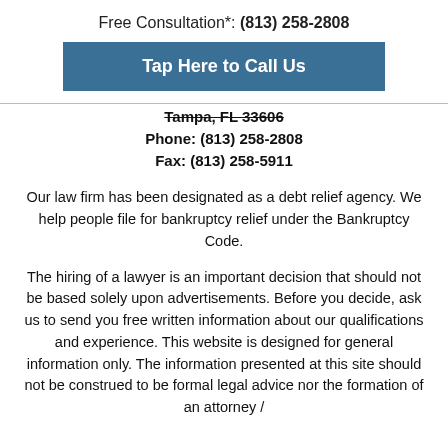Free Consultation*: (813) 258-2808
Tap Here to Call Us
Tampa, FL 33606
Phone: (813) 258-2808
Fax: (813) 258-5911
Our law firm has been designated as a debt relief agency. We help people file for bankruptcy relief under the Bankruptcy Code.
The hiring of a lawyer is an important decision that should not be based solely upon advertisements. Before you decide, ask us to send you free written information about our qualifications and experience. This website is designed for general information only. The information presented at this site should not be construed to be formal legal advice nor the formation of an attorney /